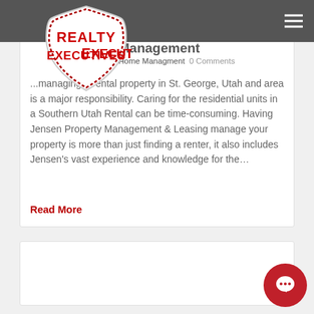Realty Executives — navigation header with hamburger menu
[Figure (logo): Realty Executives logo — shield shape with red text REALTY EXECUTIVES]
from Property Management
Home Managment   0 Comments
...managing a rental property in St. George, Utah and area is a major responsibility. Caring for the residential units in a Southern Utah Rental can be time-consuming. Having Jensen Property Management & Leasing manage your property is more than just finding a renter, it also includes Jensen's vast experience and knowledge for the…
Read More